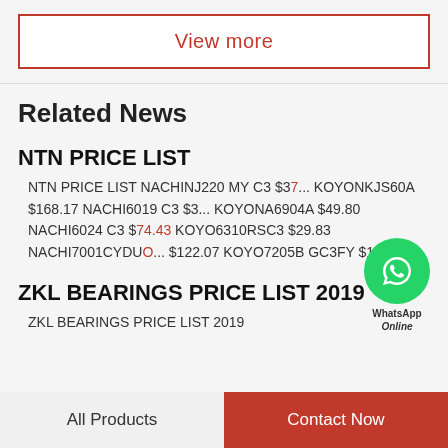View more
Related News
NTN PRICE LIST
NTN PRICE LIST NACHINJ220 MY C3 $3... KOYONKJS60A $168.17 NACHI6019 C3 $3... KOYONA6904A $49.80 NACHI6024 C3 $74.43 KOYO6310RSC3 $29.83 NACHI7001CYDU... $122.07 KOYO7205B GC3FY $114.10...
ZKL BEARINGS PRICE LIST 2019
ZKL BEARINGS PRICE LIST 2019
All Products
Contact Now